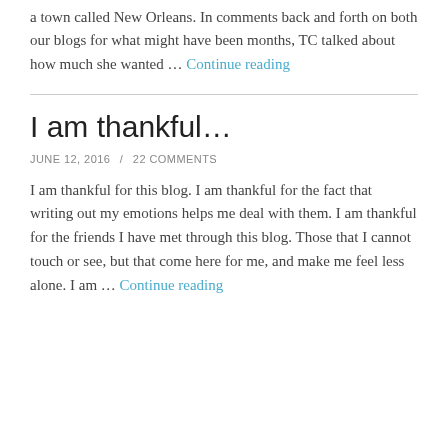a town called New Orleans. In comments back and forth on both our blogs for what might have been months, TC talked about how much she wanted … Continue reading
I am thankful…
JUNE 12, 2016 / 22 COMMENTS
I am thankful for this blog. I am thankful for the fact that writing out my emotions helps me deal with them. I am thankful for the friends I have met through this blog. Those that I cannot touch or see, but that come here for me, and make me feel less alone. I am … Continue reading